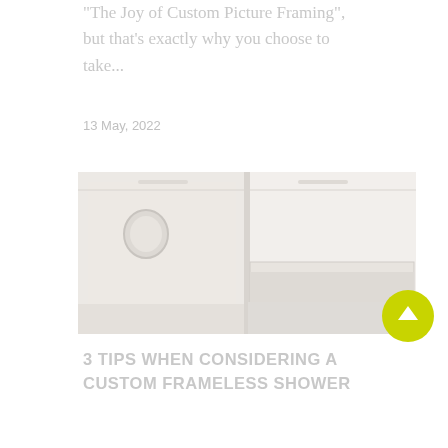"The Joy of Custom Picture Framing", but that's exactly why you choose to take...
13 May, 2022
[Figure (photo): Interior photo of a bright white bathroom with frameless shower and bathtub]
3 TIPS WHEN CONSIDERING A CUSTOM FRAMELESS SHOWER